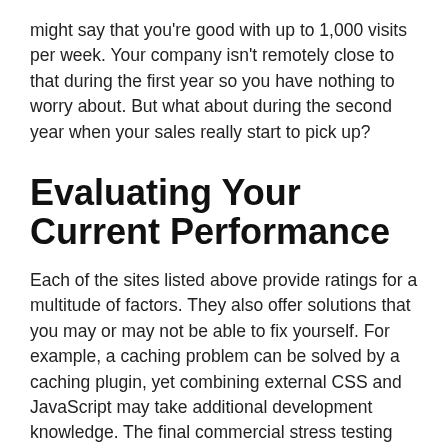might say that you're good with up to 1,000 visits per week. Your company isn't remotely close to that during the first year so you have nothing to worry about. But what about during the second year when your sales really start to pick up?
Evaluating Your Current Performance
Each of the sites listed above provide ratings for a multitude of factors. They also offer solutions that you may or may not be able to fix yourself. For example, a caching problem can be solved by a caching plugin, yet combining external CSS and JavaScript may take additional development knowledge. The final commercial stress testing option is called Blazemeter. This gem takes JMeter, and some other load testers, to analyze them from locations all over the world. The platform is opensource compatible, and it provides mobile performance